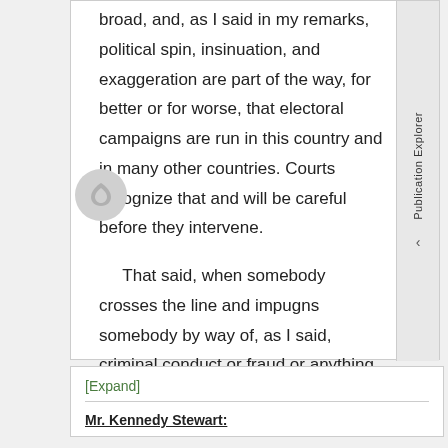broad, and, as I said in my remarks, political spin, insinuation, and exaggeration are part of the way, for better or for worse, that electoral campaigns are run in this country and in many other countries. Courts recognize that and will be careful before they intervene.
That said, when somebody crosses the line and impugns somebody by way of, as I said, criminal conduct or fraud or anything like that, then the courts would be more open to perhaps considering issuing a verdict of guilt.
[Expand]
Mr. Kennedy Stewart: